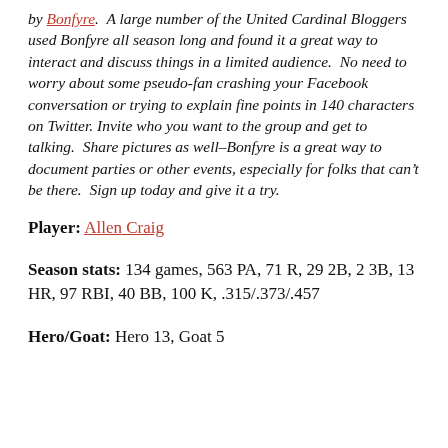by Bonfyre.  A large number of the United Cardinal Bloggers used Bonfyre all season long and found it a great way to interact and discuss things in a limited audience.  No need to worry about some pseudo-fan crashing your Facebook conversation or trying to explain fine points in 140 characters on Twitter. Invite who you want to the group and get to talking.  Share pictures as well–Bonfyre is a great way to document parties or other events, especially for folks that can't be there.  Sign up today and give it a try.
Player: Allen Craig
Season stats: 134 games, 563 PA, 71 R, 29 2B, 2 3B, 13 HR, 97 RBI, 40 BB, 100 K, .315/.373/.457
Hero/Goat: Hero 13, Goat 5